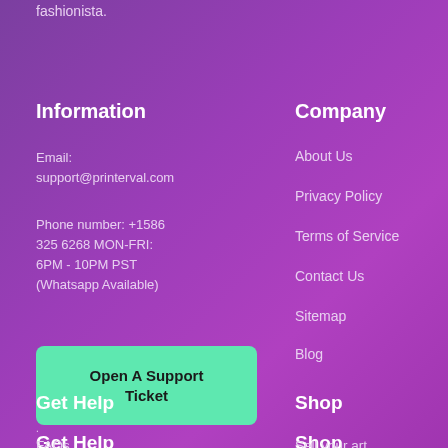fashionista.
Information
Email:
support@printerval.com
Phone number: +1586 325 6268 MON-FRI: 6PM - 10PM PST (Whatsapp Available)
[Figure (other): Green button: Open A Support Ticket]
.
Get Help
FAQs
Company
About Us
Privacy Policy
Terms of Service
Contact Us
Sitemap
Blog
Shop
Sell your art